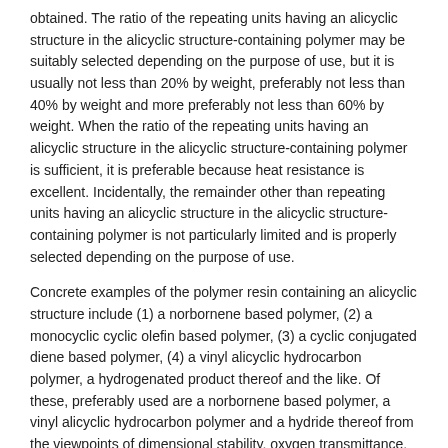obtained. The ratio of the repeating units having an alicyclic structure in the alicyclic structure-containing polymer may be suitably selected depending on the purpose of use, but it is usually not less than 20% by weight, preferably not less than 40% by weight and more preferably not less than 60% by weight. When the ratio of the repeating units having an alicyclic structure in the alicyclic structure-containing polymer is sufficient, it is preferable because heat resistance is excellent. Incidentally, the remainder other than repeating units having an alicyclic structure in the alicyclic structure-containing polymer is not particularly limited and is properly selected depending on the purpose of use.
Concrete examples of the polymer resin containing an alicyclic structure include (1) a norbornene based polymer, (2) a monocyclic cyclic olefin based polymer, (3) a cyclic conjugated diene based polymer, (4) a vinyl alicyclic hydrocarbon polymer, a hydrogenated product thereof and the like. Of these, preferably used are a norbornene based polymer, a vinyl alicyclic hydrocarbon polymer and a hydride thereof from the viewpoints of dimensional stability, oxygen transmittance, moisture permeability, heat resistance, mechanical strength and the like.
(1) Norbornene Based Polymer
Examples of the norbornene based polymer include a ring-opening polymer of a norbornene based monomer, a ring-opening copolymer of a